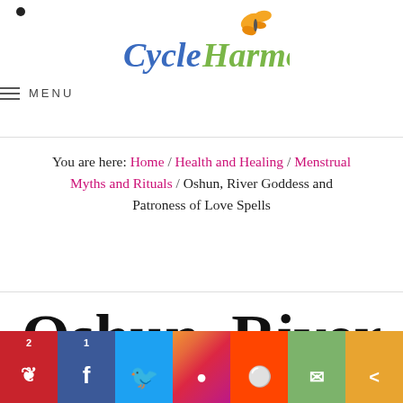Cycle Harmony – site logo and MENU navigation
You are here: Home / Health and Healing / Menstrual Myths and Rituals / Oshun, River Goddess and Patroness of Love Spells
Oshun, River Goddess and (continues below)
Social sharing bar: 2 Pinterest, 1 Facebook, Twitter, Instagram, Reddit, Email, Share